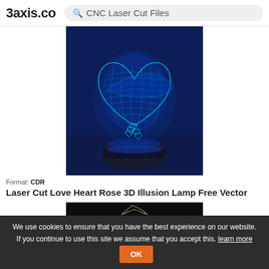3axis.co  CNC Laser Cut Files
[Figure (photo): 3D illusion lamp showing a glowing blue heart with rose design on a dark base, photographed against a brick wall background]
Format: CDR
Laser Cut Love Heart Rose 3D Illusion Lamp Free Vector
[Figure (photo): Partial view of another product image, dark background]
We use cookies to ensure that you have the best experience on our website. If you continue to use this site we assume that you accept this. learn more  OK